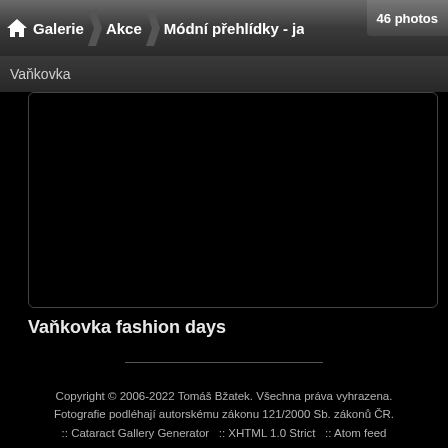Galerie > Akce > Módní přehlídky - jaro 201 | 46 photos | Vaňkovka
[Figure (photo): Large black/dark image area representing a photo viewer with a very dark or blank photo displayed.]
Vaňkovka fashion days
Copyright © 2006-2022 Tomáš Bžatek. Všechna práva vyhrazena. Fotografie podléhají autorskému zákonu 121/2000 Sb. zákonů ČR. :: Cataract Gallery Generator :: XHTML 1.0 Strict :: Atom feed